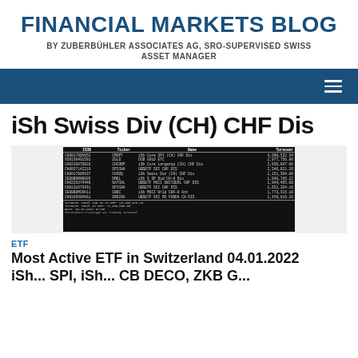FINANCIAL MARKETS BLOG
BY ZUBERBÜHLER ASSOCIATES AG, SRO-SUPERVISED SWISS ASSET MANAGER
[Figure (screenshot): Navigation bar with hamburger menu icon on dark blue background]
iSh Swiss Div (CH) CHF Dis
[Figure (screenshot): Table showing Most Active ETFs in Switzerland with columns ISIN, Ticker, Name, Turnover. Includes entries like iSh Core SPI (CH) CHF Dis, DCB GOLD ETC, iSh Core Largecap (CH) CHF Dis, UBSETF SXI CHF DIS, iSh Swiss Div (CH) CHF Dis, iSh S SP Dod CH-H Dis, UBSETF MSCI SWITZERL CHF DIS, UBSETF SXI CHF DIS, iSh MSCI Wrld CHF-H Acc, UBSETF SXI RS FONDA CH DIS. Turnover Total Top 10 in CHF: 25,463,975.18, Turnover Total in CHF: 71,488,508.85, Date: 04.01.2022 01:00]
ETF
Most Active ETF in Switzerland 04.01.2022 iSh... SPI, iSh... CB DECO, ZKB G...